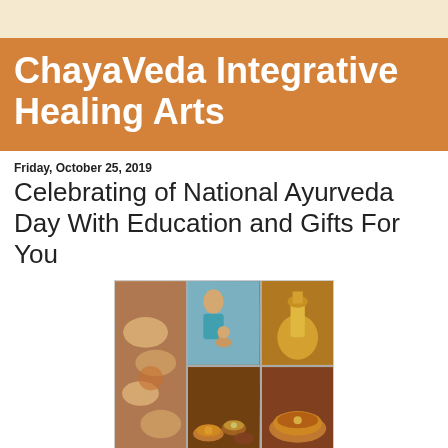ChayaVeda Integrative Healing Arts
Friday, October 25, 2019
Celebrating of National Ayurveda Day With Education and Gifts For You
[Figure (photo): Collage of four Ayurveda-related photos: a practitioner performing shirodhara, golden Ayurvedic vessels, spices and herbs in bowls, and a foot massage with oil bowl]
[Figure (other): Partial view of a National Ayurveda Day promotional card with text 'a Day' and a green leaf graphic on a cream/white background]